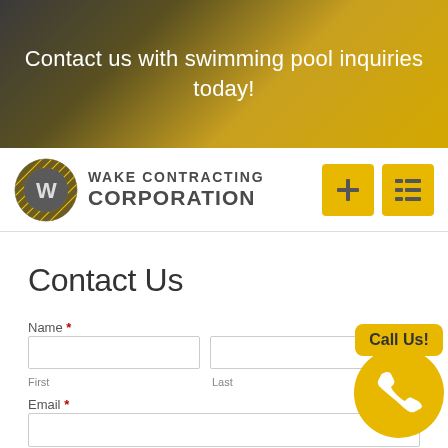Contact us with swimming pool inquiries today!
[Figure (logo): Wake Contracting Corporation logo with W emblem circle and company name, plus two yellow navigation buttons]
Contact Us
Name *
First
Last
Email *
[Figure (illustration): Yellow 'Call Us!' button with phone icon circle]